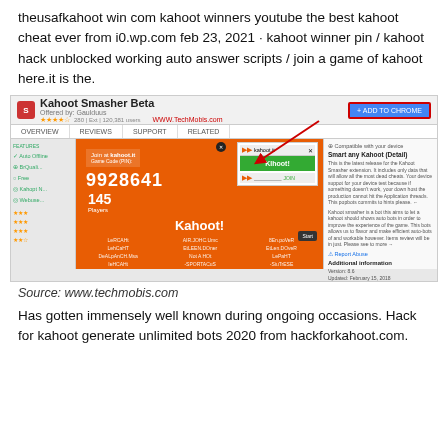theusafkahoot win com kahoot winners youtube the best kahoot cheat ever from i0.wp.com feb 23, 2021 · kahoot winner pin / kahoot hack unblocked working auto answer scripts / join a game of kahoot here.it is the.
[Figure (screenshot): Screenshot of Kahoot Smasher Beta Chrome extension page showing orange Kahoot game interface with game pin 9928641 and 145 players]
Source: www.techmobis.com
Has gotten immensely well known during ongoing occasions. Hack for kahoot generate unlimited bots 2020 from hackforkahoot.com.